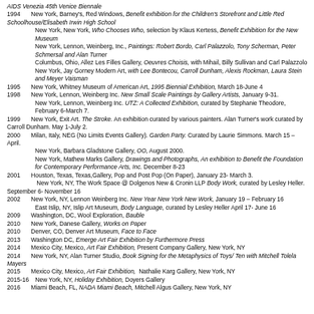AIDS Venezia 45th Venice Biennale
1994    New York, Barney's, Red Windows, Benefit exhibition for the Children's Storefront and Little Red Schoolhouse/Elisabeth Irwin High School
New York, New York, Who Chooses Who, selection by Klaus Kertess, Benefit Exhibition for the New Museum
New York, Lennon, Weinberg, Inc., Paintings: Robert Bordo, Carl Palazzolo, Tony Scherman, Peter Schmersal and Alan Turner
Columbus, Ohio, Allez Les Filles Gallery, Oeuvres Choisis, with Mihail, Billy Sullivan and Carl Palazzolo
New York, Jay Gorney Modern Art, with Lee Bontecou, Carroll Dunham, Alexis Rockman, Laura Stein and Meyer Vaisman
1995    New York, Whitney Museum of American Art, 1995 Biennial Exhibition, March 18-June 4
1998    New York, Lennon, Weinberg Inc. New Small Scale Paintings by Gallery Artists, January 9-31.
New York, Lennon, Weinberg Inc. UTZ: A Collected Exhibition, curated by Stephanie Theodore, February 6-March 7.
1999    New York, Exit Art. The Stroke. An exhibition curated by various painters. Alan Turner's work curated by Carroll Dunham. May 1-July 2.
2000    Milan, Italy, NEG (No Limits Events Gallery). Garden Party. Curated by Laurie Simmons. March 15 – April.
New York, Barbara Gladstone Gallery, OO, August 2000.
New York, Mathew Marks Gallery, Drawings and Photographs, An exhibition to Benefit the Foundation for Contemporary Performance Arts, Inc. December 8-23
2001    Houston, Texas, Texas,Gallery, Pop and Post Pop (On Paper), January 23- March 3.
New York, NY, The Work Space @ Dolgenos New & Cronin LLP Body Work, curated by Lesley Heller. September 6- November 16
2002    New York, NY, Lennon Weinberg Inc. New Year New York New Work, January 19 – February 16
East Islip, NY, Islip Art Museum, Body Language, curated by Lesley Heller April 17- June 16
2009    Washington, DC, Wool Exploration, Bauble
2010    New York, Danese Gallery, Works on Paper
2010    Denver, CO, Denver Art Museum, Face to Face
2013    Washington DC, Emerge Art Fair Exhibition by Furthermore Press
2014    Mexico City, Mexico, Art Fair Exhibition, Present Company Gallery, New York, NY
2014    New York, NY, Alan Turner Studio, Book Signing for the Metaphysics of Toys/ Ten with Mitchell Tolela Mayers
2015    Mexico City, Mexico, Art Fair Exhibition,  Nathalie Karg Gallery, New York, NY
2015-16    New York, NY, Holiday Exhibition, Doyers Gallery
2016    Miami Beach, FL, NADA Miami Beach, Mitchell Algus Gallery, New York, NY